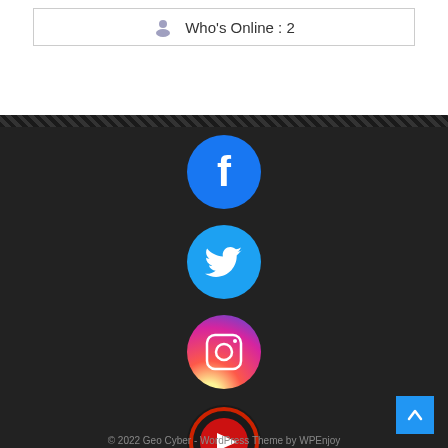Who's Online : 2
[Figure (logo): Facebook circular icon - blue circle with white F logo]
[Figure (logo): Twitter circular icon - blue circle with white bird logo]
[Figure (logo): Instagram circular icon - colorful gradient circle with camera logo]
[Figure (logo): YouTube circular icon - dark red/orange ring with red play button circle]
© 2022 Geo Cyber - WordPress Theme by WPEnjoy